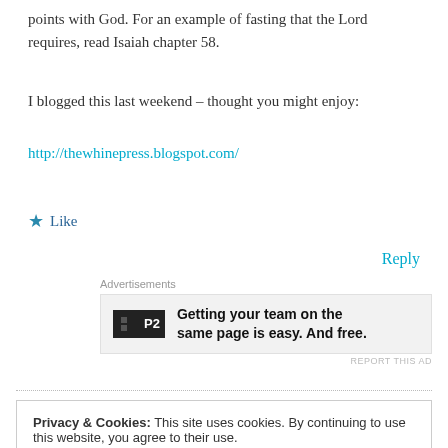points with God. For an example of fasting that the Lord requires, read Isaiah chapter 58.
I blogged this last weekend – thought you might enjoy:
http://thewhinepress.blogspot.com/
★ Like
Reply
[Figure (screenshot): Advertisement banner for P2 product: 'Getting your team on the same page is easy. And free.']
Privacy & Cookies: This site uses cookies. By continuing to use this website, you agree to their use. To find out more, including how to control cookies, see here: Cookie Policy
Close and accept